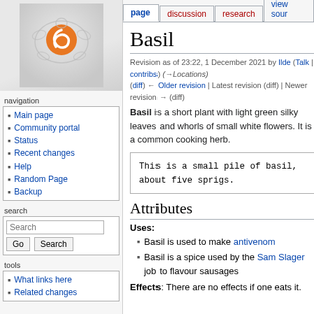log in
page | discussion | research | view source
[Figure (logo): Wiki turtle logo with orange swirl on grey gradient background]
navigation
Main page
Community portal
Status
Recent changes
Help
Random Page
Backup
search
tools
What links here
Related changes
Basil
Revision as of 23:22, 1 December 2021 by Ilde (Talk | contribs) (→Locations)
(diff) ← Older revision | Latest revision (diff) | Newer revision → (diff)
Basil is a short plant with light green silky leaves and whorls of small white flowers. It is a common cooking herb.
This is a small pile of basil, about five sprigs.
Attributes
Uses:
Basil is used to make antivenom
Basil is a spice used by the Sam Slager job to flavour sausages
Effects: There are no effects if one eats it.